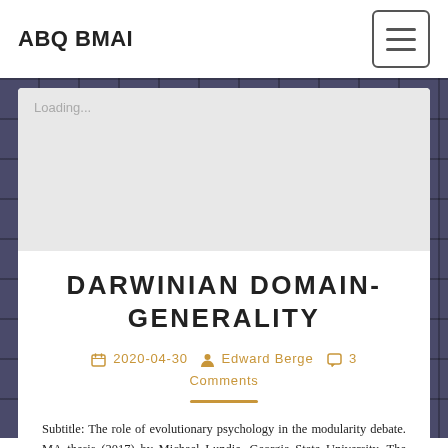ABQ BMAI
Loading...
DARWINIAN DOMAIN-GENERALITY
2020-04-30  Edward Berge  3 Comments
Subtitle: The role of evolutionary psychology in the modularity debate. MA thesis (2017) by Michael Lundie, Georgia State University. The abstract: